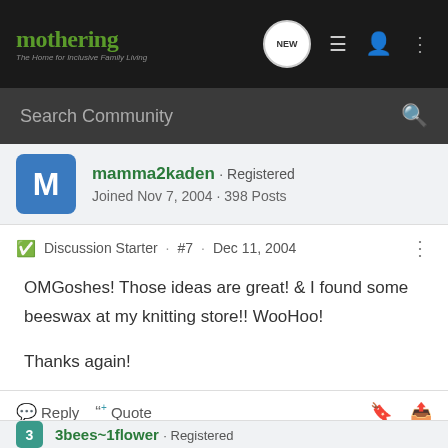mothering - The Home for Inclusive Family Living
Search Community
mamma2kaden · Registered
Joined Nov 7, 2004 · 398 Posts
Discussion Starter · #7 · Dec 11, 2004
OMGoshes! Those ideas are great! & I found some beeswax at my knitting store!!  WooHoo!


Thanks again!
Reply   Quote
3bees~1flower · Registered